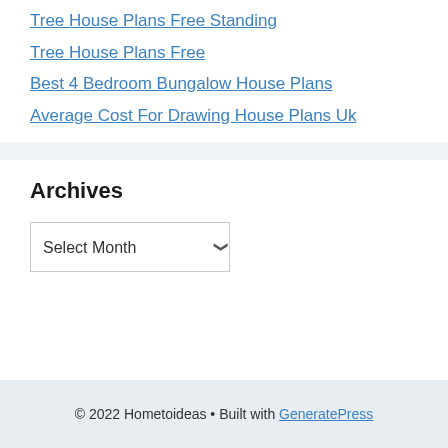Tree House Plans Free Standing
Tree House Plans Free
Best 4 Bedroom Bungalow House Plans
Average Cost For Drawing House Plans Uk
Archives
Select Month
© 2022 Hometoideas • Built with GeneratePress